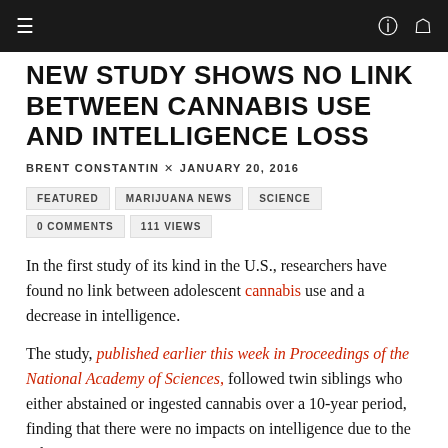≡  🔍 👤
NEW STUDY SHOWS NO LINK BETWEEN CANNABIS USE AND INTELLIGENCE LOSS
BRENT CONSTANTIN × JANUARY 20, 2016
FEATURED
MARIJUANA NEWS
SCIENCE
0 COMMENTS
111 VIEWS
In the first study of its kind in the U.S., researchers have found no link between adolescent cannabis use and a decrease in intelligence.
The study, published earlier this week in Proceedings of the National Academy of Sciences, followed twin siblings who either abstained or ingested cannabis over a 10-year period, finding that there were no impacts on intelligence due to the substance.
Researchers followed 789 pairs of twins, beginning at the age of 9–11 and, over the next decade, administered five intelligence tests and asked participants about their use of cannabis, along with other narcotics such as alcohol, opioids and cocaine.